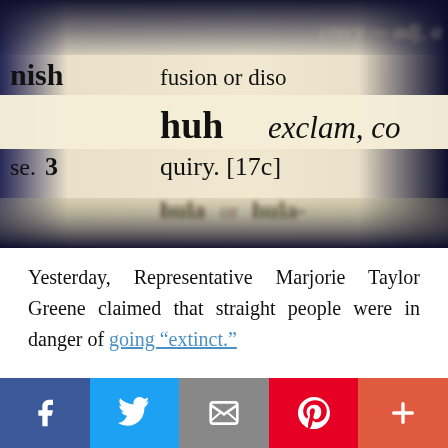[Figure (photo): Close-up photo of a dictionary page showing the word 'huh' in bold, with 'exclam,' in italic, and surrounding partial words and definitions including 'nish', 'fusion or diso', 'se. 3', 'quiry. [17c]', 'hula or hula-']
Yesterday, Representative Marjorie Taylor Greene claimed that straight people were in danger of going “extinct.”
[Figure (infographic): Social media share bar with Facebook (blue), Twitter (light blue), Email (gray), Pinterest (red), and More/Plus (coral red) buttons]